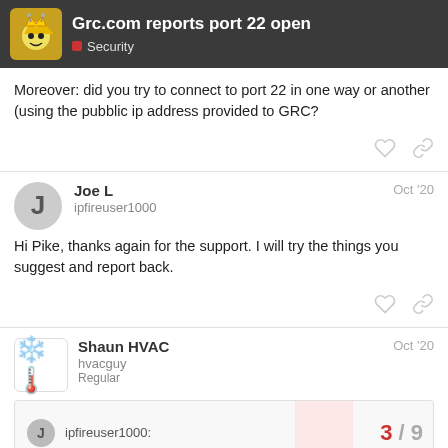Grc.com reports port 22 open — Security
Moreover: did you try to connect to port 22 in one way or another (using the pubblic ip address provided to GRC?
Joe L — ipfireuser1000 — Oct '20
Hi Pike, thanks again for the support. I will try the things you suggest and report back.
Shaun HVAC — hvacguy — Regular — Oct '20
ipfireuser1000: 3/9